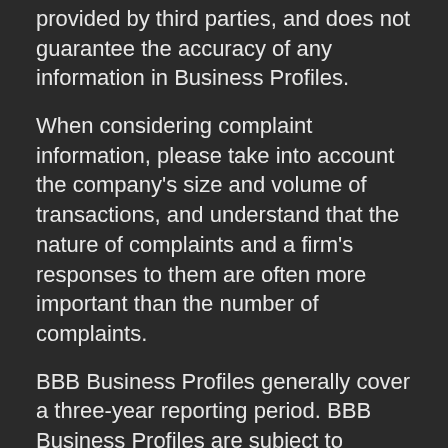provided by third parties, and does not guarantee the accuracy of any information in Business Profiles.
When considering complaint information, please take into account the company's size and volume of transactions, and understand that the nature of complaints and a firm's responses to them are often more important than the number of complaints.
BBB Business Profiles generally cover a three-year reporting period. BBB Business Profiles are subject to change at any time. If you choose to do business with this business, please let the business know that you contacted BBB for a BBB Business Profile.
As a matter of policy, BBB does not endorse any product, service or business.
Источник: